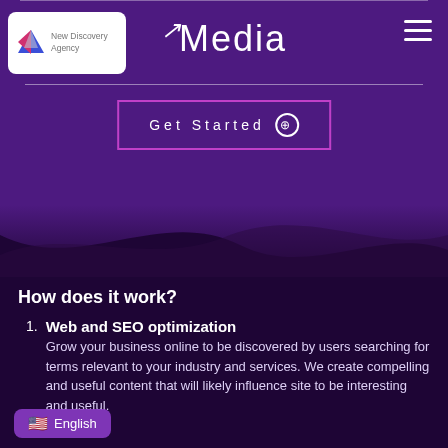New Discovery Agency — Media
Get Started →
How does it work?
1. Web and SEO optimization
Grow your business online to be discovered by users searching for terms relevant to your industry and services. We create compelling and useful content that will likely influence site to be interesting and useful.
English